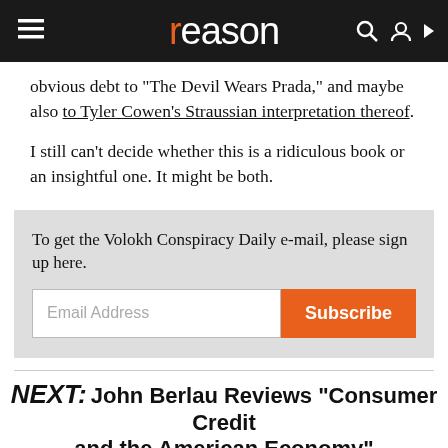reason
obvious debt to "The Devil Wears Prada," and maybe also to Tyler Cowen's Straussian interpretation thereof.
I still can't decide whether this is a ridiculous book or an insightful one. It might be both.
To get the Volokh Conspiracy Daily e-mail, please sign up here.
NEXT: John Berlau Reviews "Consumer Credit and the American Economy"